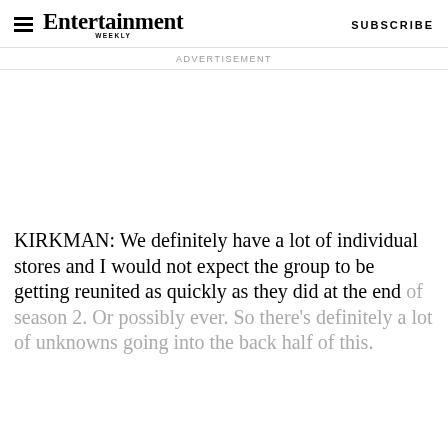Entertainment Weekly — SUBSCRIBE
ADVERTISEMENT
KIRKMAN: We definitely have a lot of individual stores and I would not expect the group to be getting reunited as quickly as they did at the end of season 2. Or possibly ever. So there's definitely a lot of unknowns going into the back half of this.